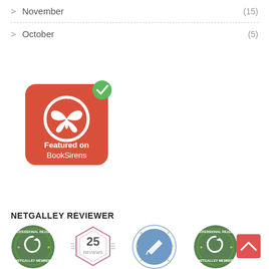> November (15)
> October (5)
[Figure (logo): BookSirens badge: red rounded square with white butterfly icon in circle, green checkmark badge top right, text 'Featured on BookSirens']
NETGALLEY REVIEWER
[Figure (logo): Row of NetGalley reviewer badges: NetGalley Member Professional Reader badge (green), 25 Reviews hexagon badge (gray/pink outline), Professional Reader blue circle badge, second NetGalley Member Professional Reader badge (green). Plus a red back-to-top button.]